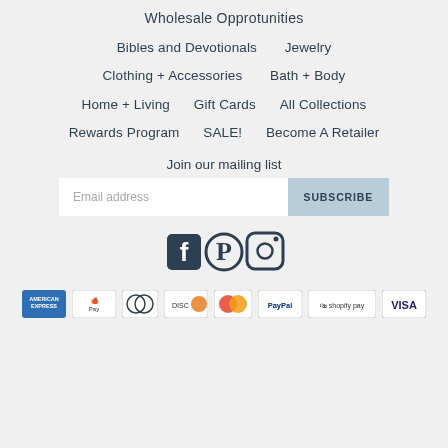Wholesale Opprotunities
Bibles and Devotionals
Jewelry
Clothing + Accessories
Bath + Body
Home + Living
Gift Cards
All Collections
Rewards Program
SALE!
Become A Retailer
Join our mailing list
Email address  SUBSCRIBE
[Figure (other): Social media icons: Facebook, Pinterest, Instagram]
[Figure (other): Payment method logos: American Express, Apple Pay, Diners Club, Discover, Mastercard, PayPal, Shopify Pay, Visa]